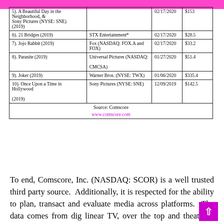| Movie | Studio | Date | Revenue |
| --- | --- | --- | --- |
| 5). A Beautiful Day in the Neighborhood, (2019) | Sony Pictures (NYSE: SNE) | 02/17/2020 | $153 |
| 6). 21 Bridges (2019) | STX Entertainment* | 02/17/2020 | $28.5 |
| 7). Jojo Rabbit (2019) | Fox (NASDAQ: FOX.A and FOX) | 02/17/2020 | $33.2 |
| 8). Parasite (2019) | Universal Pictures (NASDAQ: CMCSA) | 01/27/2020 | $51.4 |
| 9). Joker (2019) | Warner Bros. (NYSE: TWX) | 01/06/2020 | $335.4 |
| 10). Once Upon a Time in Hollywood (2019) | Sony Pictures (NYSE: SNE) | 12/09/2019 | $142.5 |
| Source: Comscore
www.comscore.com |  |  |  |
To end, Comscore, Inc. (NASDAQ: SCOR) is a well trusted third party source. Additionally, it is respected for the ability to plan, transact and evaluate media across platforms. The data comes from digital linear TV, over the top and theatrical audience